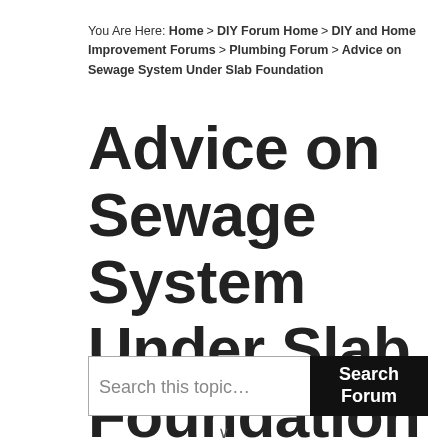You Are Here: Home > DIY Forum Home > DIY and Home Improvement Forums > Plumbing Forum > Advice on Sewage System Under Slab Foundation
Advice on Sewage System Under Slab Foundation
Search this topic… Search Forum